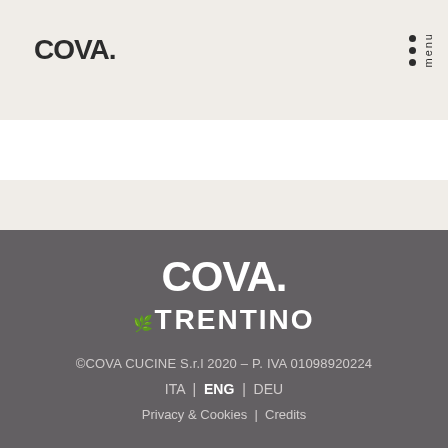COVA.
[Figure (logo): COVA. logo in white on dark grey background, with Trentino logo below]
©COVA CUCINE S.r.l 2020 – P. IVA 01098920224
ITA | ENG | DEU
Privacy & Cookies | Credits